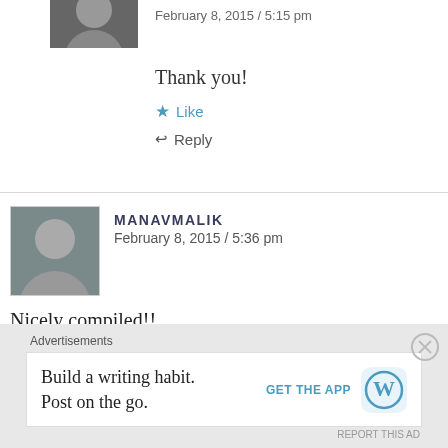February 8, 2015 / 5:15 pm
Thank you!
★ Like
↩ Reply
MANAVMALIK
February 8, 2015 / 5:36 pm
Nicely compiled!! Also wishing you a very Happy Birthday!
★ Like
Advertisements
Build a writing habit. Post on the go.
GET THE APP